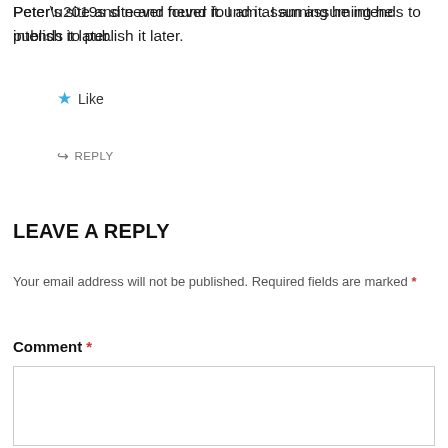Peter’s site and never found it. I am assuming he intends to publish it later.
★ Like
↳ REPLY
LEAVE A REPLY
Your email address will not be published. Required fields are marked *
Comment *